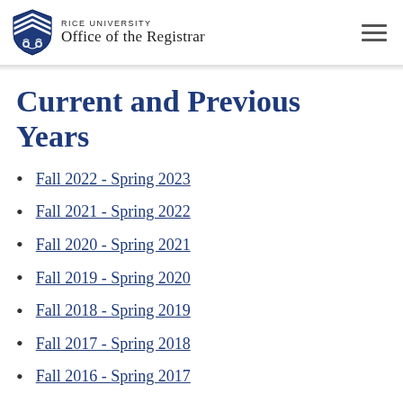RICE UNIVERSITY Office of the Registrar
Current and Previous Years
Fall 2022 - Spring 2023
Fall 2021 - Spring 2022
Fall 2020 - Spring 2021
Fall 2019 - Spring 2020
Fall 2018 - Spring 2019
Fall 2017 - Spring 2018
Fall 2016 - Spring 2017
Fall 2015 - Spring 2016
Fall 2014 - Spring 2015